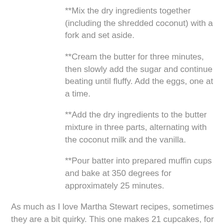**Mix the dry ingredients together (including the shredded coconut) with a fork and set aside.
**Cream the butter for three minutes, then slowly add the sugar and continue beating until fluffy. Add the eggs, one at a time.
**Add the dry ingredients to the butter mixture in three parts, alternating with the coconut milk and the vanilla.
**Pour batter into prepared muffin cups and bake at 350 degrees for approximately 25 minutes.
As much as I love Martha Stewart recipes, sometimes they are a bit quirky. This one makes 21 cupcakes, for example. Why? I want a cupcake recipe to make either 12 or 24, which seems logical. But they taste good, so I tried to put aside my OCD.
Martha calls for seven minute frosting with these, but I've